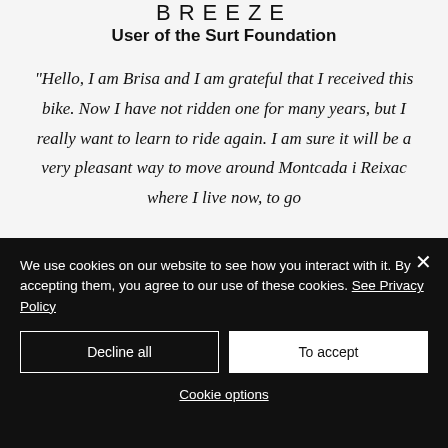BREEZE
User of the Surt Foundation
“Hello, I am Brisa and I am grateful that I received this bike. Now I have not ridden one for many years, but I really want to learn to ride again. I am sure it will be a very pleasant way to move around Montcada i Reixac where I live now, to go
We use cookies on our website to see how you interact with it. By accepting them, you agree to our use of these cookies. See Privacy Policy
Decline all
To accept
Cookie options